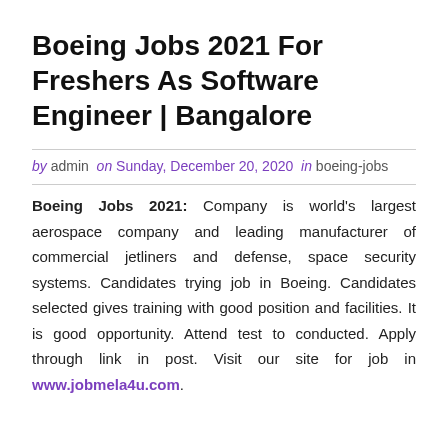Boeing Jobs 2021 For Freshers As Software Engineer | Bangalore
by admin  on Sunday, December 20, 2020  in boeing-jobs
Boeing Jobs 2021: Company is world's largest aerospace company and leading manufacturer of commercial jetliners and defense, space security systems. Candidates trying job in Boeing. Candidates selected gives training with good position and facilities. It is good opportunity. Attend test to conducted. Apply through link in post. Visit our site for job in www.jobmela4u.com.